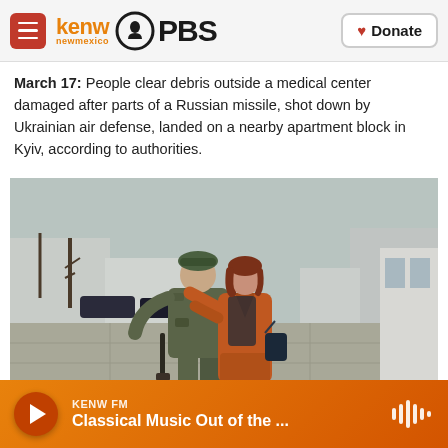kenw new mexico PBS — Donate
March 17: People clear debris outside a medical center damaged after parts of a Russian missile, shot down by Ukrainian air defense, landed on a nearby apartment block in Kyiv, according to authorities.
[Figure (photo): A soldier in camouflage uniform and green beret embraces a woman in an orange/rust-colored coat on a city street. The soldier carries a rifle. Trees and parked cars visible in the background.]
KENW FM — Classical Music Out of the ...